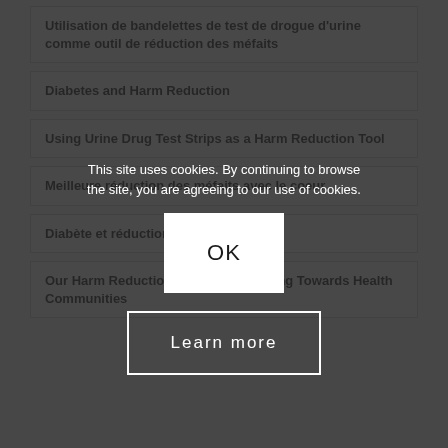Utilisation de bandelettes de test de drogue d'urine comme outil de réduction des méfaits
Diabetes and Harm Reduction
Using Urine Drug Test Strips as a Harm Reduction Tool
Meilleure réduction des méfaits avec le coeur
Diabète et réduction des méfaits
Our Harm Reduction Practices: Working Towards Health Communities
This site uses cookies. By continuing to browse the site, you are agreeing to our use of cookies.
OK
Learn more